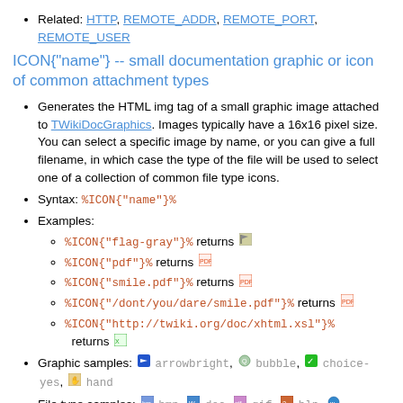Related: HTTP, REMOTE_ADDR, REMOTE_PORT, REMOTE_USER
ICON{"name"} -- small documentation graphic or icon of common attachment types
Generates the HTML img tag of a small graphic image attached to TWikiDocGraphics. Images typically have a 16x16 pixel size. You can select a specific image by name, or you can give a full filename, in which case the type of the file will be used to select one of a collection of common file type icons.
Syntax: %ICON{"name"}%
Examples:
%ICON{"flag-gray"}% returns [icon]
%ICON{"pdf"}% returns [icon]
%ICON{"smile.pdf"}% returns [icon]
%ICON{"/dont/you/dare/smile.pdf"}% returns [icon]
%ICON{"http://twiki.org/doc/xhtml.xsl"}% returns [icon]
Graphic samples: [arrow] arrowbright, [bubble] bubble, [check] choice-yes, [hand] hand
File type samples: [bmp] bmp, [doc] doc, [gif] gif, [hlp] hlp, [web]